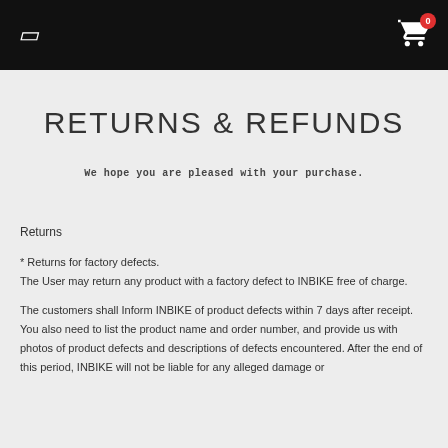logo icon | cart 0
RETURNS & REFUNDS
We hope you are pleased with your purchase.
Returns
* Returns for factory defects.
The User may return any product with a factory defect to INBIKE free of charge.
The customers shall Inform INBIKE of product defects within 7 days after receipt. You also need to list the product name and order number, and provide us with photos of product defects and descriptions of defects encountered. After the end of this period, INBIKE will not be liable for any alleged damage or